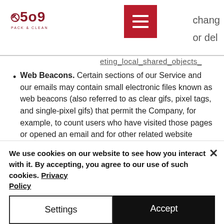509 Pack & Clean — navigation header with hamburger menu
Web Beacons. Certain sections of our Service and our emails may contain small electronic files known as web beacons (also referred to as clear gifs, pixel tags, and single-pixel gifs) that permit the Company, for example, to count users who have visited those pages or opened an email and for other related website statistics (for example, recording the popularity of a certain section and verifying system and server integrity).
We use cookies on our website to see how you interact with it. By accepting, you agree to our use of such cookies. Privacy Policy